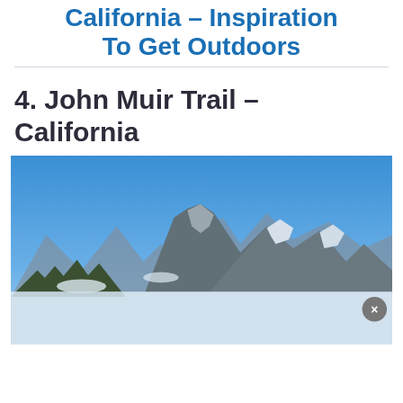California – Inspiration To Get Outdoors
4. John Muir Trail – California
[Figure (photo): Panoramic photograph of a rugged snow-capped mountain range in California under a clear blue sky, with rocky peaks, patches of snow, and a pine forest in the foreground valley. Partially overlaid at the bottom by an advertisement banner with a close (×) button.]